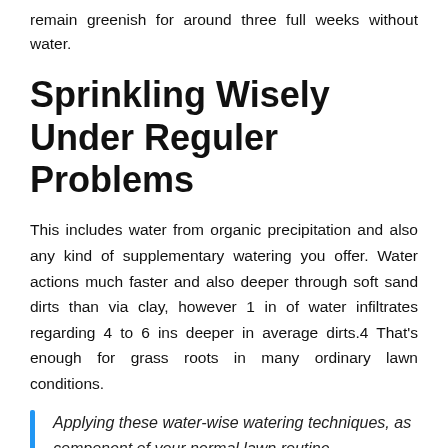remain greenish for around three full weeks without water.
Sprinkling Wisely Under Reguler Problems
This includes water from organic precipitation and also any kind of supplementary watering you offer. Water actions much faster and also deeper through soft sand dirts than via clay, however 1 in of water infiltrates regarding 4 to 6 ins deeper in average dirts.4 That's enough for grass roots in many ordinary lawn conditions.
Applying these water-wise watering techniques, as component of your normal lawn routine maintenance regular maintains yards healthy while lowering drainage:.
Make use of rain gauges or weather information to track how much regular water attribute supplies, at that point